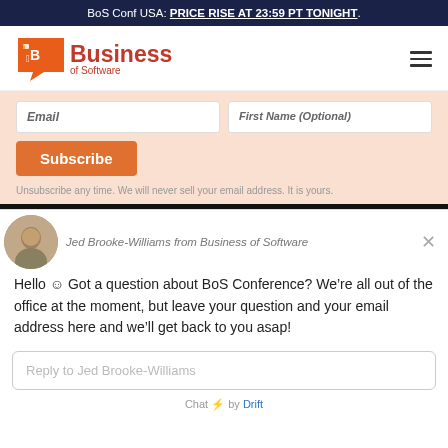BoS Conf USA: PRICE RISE AT 23:59 PT TONIGHT.
[Figure (logo): Business of Software logo with orange speech bubble icon and red text]
Email | First Name (Optional)
Subscribe
Unsubscribe any time. We will never sell your email address. It is yours.
[Figure (photo): Chat widget showing Jed Brooke-Williams avatar and message]
Jed Brooke-Williams from Business of Software
Hello ☺ Got a question about BoS Conference? We’re all out of the office at the moment, but leave your question and your email address here and we’ll get back to you asap!
Reply to Jed Brooke-Williams
Chat ⚡ by Drift